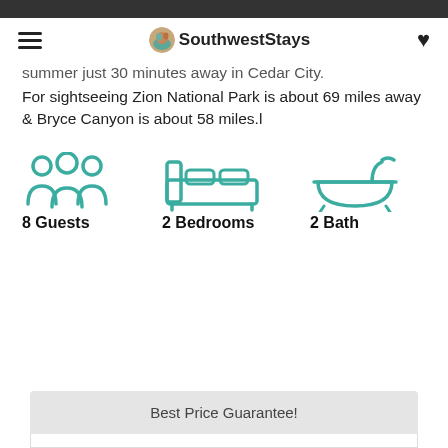SouthwestStays
summer just 30 minutes away in Cedar City.
For sightseeing Zion National Park is about 69 miles away & Bryce Canyon is about 58 miles.l
[Figure (infographic): Three teal icons: group of people (8 Guests), bed (2 Bedrooms), bathtub (2 Bath) with bold labels beneath each icon.]
Best Price Guarantee!